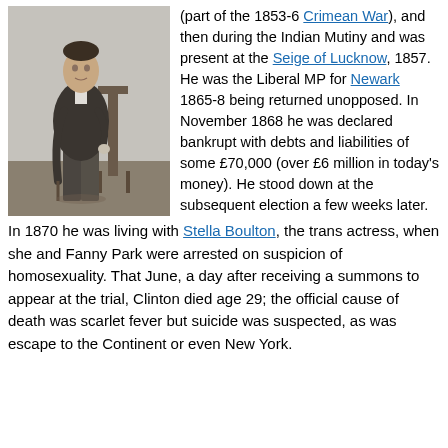[Figure (photo): Black and white photograph of a man standing in Victorian-era clothing, holding a cane, with a chair visible in the background.]
(part of the 1853-6 Crimean War), and then during the Indian Mutiny and was present at the Seige of Lucknow, 1857. He was the Liberal MP for Newark 1865-8 being returned unopposed. In November 1868 he was declared bankrupt with debts and liabilities of some £70,000 (over £6 million in today's money). He stood down at the subsequent election a few weeks later.
In 1870 he was living with Stella Boulton, the trans actress, when she and Fanny Park were arrested on suspicion of homosexuality. That June, a day after receiving a summons to appear at the trial, Clinton died age 29; the official cause of death was scarlet fever but suicide was suspected, as was escape to the Continent or even New York.